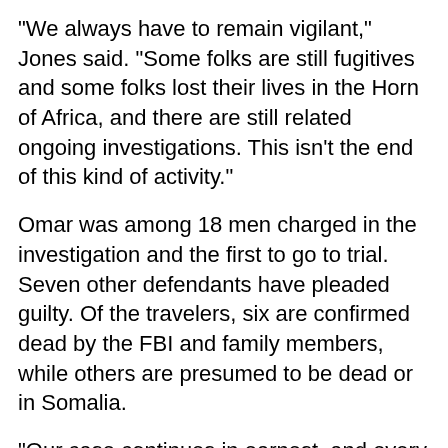"We always have to remain vigilant," Jones said. "Some folks are still fugitives and some folks lost their lives in the Horn of Africa, and there are still related ongoing investigations. This isn't the end of this kind of activity."
Omar was among 18 men charged in the investigation and the first to go to trial. Seven other defendants have pleaded guilty. Of the travelers, six are confirmed dead by the FBI and family members, while others are presumed to be dead or in Somalia.
"Our case continues in earnest, and every single day that we come to work, we continue to look at individuals potentially responsible for volunteering to travel, to train, to fight overseas on behalf of al-Shabab, or to become operatives;" said E.K. Wilson, the FBI supervisory special agent overseeing the